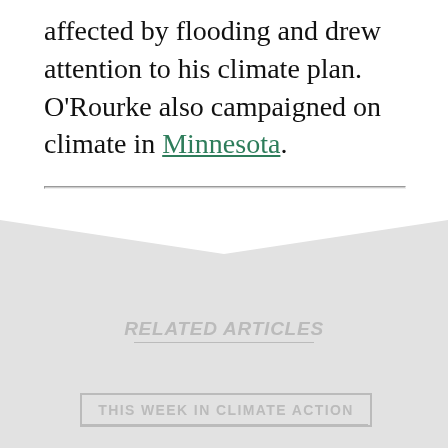affected by flooding and drew attention to his climate plan. O'Rourke also campaigned on climate in Minnesota.
ISSUE:  CLIMATE CHANGE
RELATED ARTICLES
THIS WEEK IN CLIMATE ACTION